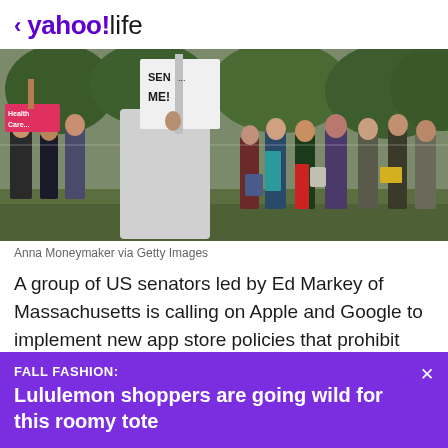< yahoo!life
[Figure (photo): Outdoor protest crowd scene with people holding signs including one that reads 'SEND ME!' and a pink 'Health Care' sign. People of various ages gathered on a grassy area with trees in background.]
Anna Moneymaker via Getty Images
A group of US senators led by Ed Markey of Massachusetts is calling on Apple and Google to implement new app store policies that prohibit
FALL FASHION: Lululemon shoppers are going wild for this roomy tote